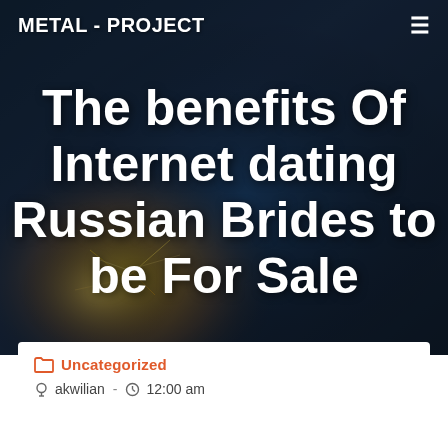METAL - PROJECT
[Figure (photo): Dark background photo of a welder working with sparks flying, wearing a welding helmet, with blue and orange lighting]
The benefits Of Internet dating Russian Brides to be For Sale
Uncategorized
akwilian  -  12:00 am